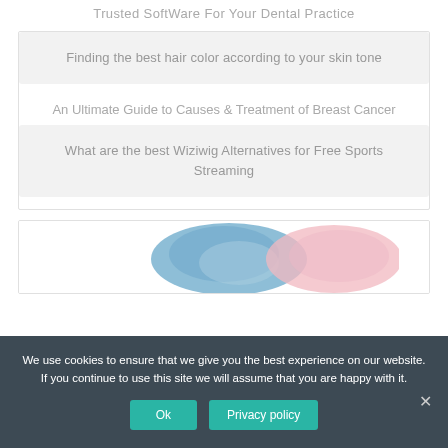Trusted Software For Your Dental Practice
Finding the best hair color according to your skin tone
An Ultimate Guide to Causes & Treatment of Breast Cancer
What are the best Wiziwig Alternatives for Free Sports Streaming
[Figure (photo): Decorative image with blue and pink abstract bowl/blob shapes]
We use cookies to ensure that we give you the best experience on our website. If you continue to use this site we will assume that you are happy with it.